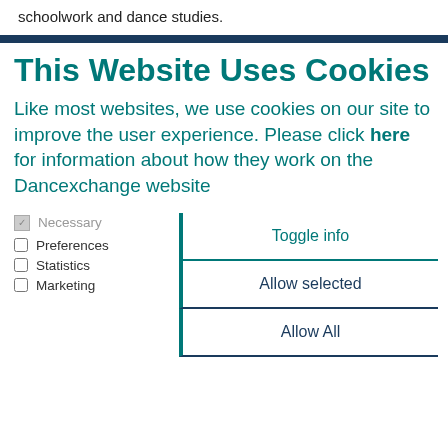schoolwork and dance studies.
This Website Uses Cookies
Like most websites, we use cookies on our site to improve the user experience. Please click here for information about how they work on the Dancexchange website
Necessary
Preferences
Statistics
Marketing
Toggle info
Allow selected
Allow All